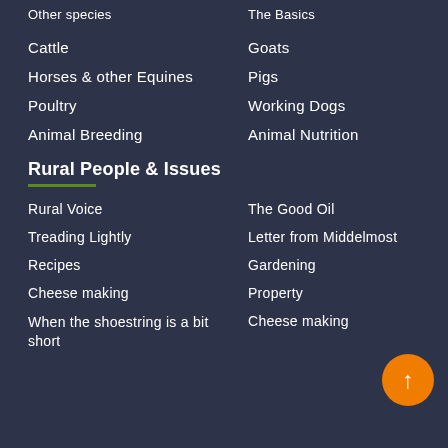Other species
The Basics
Cattle
Goats
Horses & other Equines
Pigs
Poultry
Working Dogs
Animal Breeding
Animal Nutrition
Rural People & Issues
Rural Voice
The Good Oil
Treading Lightly
Letter from Middelmost
Recipes
Gardening
Cheese making
Property
When the shoestring is a bit short
Cheese making